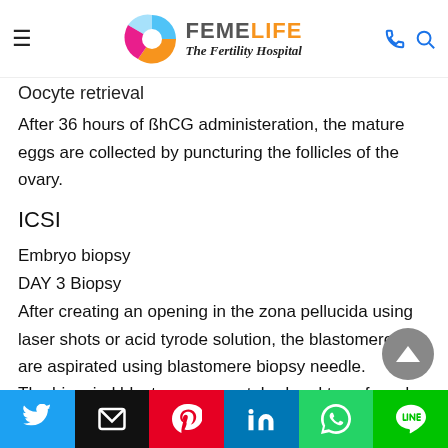FEMELIFE The Fertility Hospital
Oocyte retrieval
After 36 hours of ßhCG administeration, the mature eggs are collected by puncturing the follicles of the ovary.
ICSI
Embryo biopsy
DAY 3 Biopsy
After creating an opening in the zona pellucida using laser shots or acid tyrode solution, the blastomeres are aspirated using blastomere biopsy needle.
The biopsied blastomeres are tubed and transferred safely to the testing laboratory
Social share: Twitter, Email, Pinterest, LinkedIn, WhatsApp, LINE